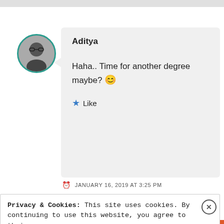Aditya
Haha.. Time for another degree maybe? 😊
★ Like
JANUARY 16, 2019 AT 3:25 PM
Privacy & Cookies: This site uses cookies. By continuing to use this website, you agree to their use.
To find out more, including how to control cookies, see here: Cookie Policy
Close and accept